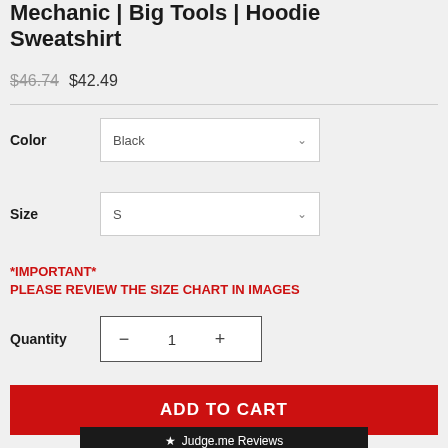Mechanic | Big Tools | Hoodie Sweatshirt
$46.74 $42.49
Color Black
Size S
*IMPORTANT* PLEASE REVIEW THE SIZE CHART IN IMAGES
Quantity 1
ADD TO CART
★ Judge.me Reviews